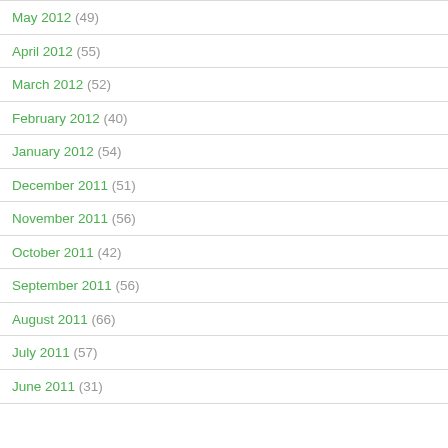May 2012 (49)
April 2012 (55)
March 2012 (52)
February 2012 (40)
January 2012 (54)
December 2011 (51)
November 2011 (56)
October 2011 (42)
September 2011 (56)
August 2011 (66)
July 2011 (57)
June 2011 (31)